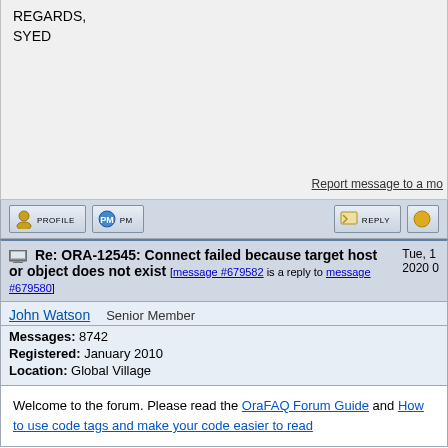REGARDS,
SYED
Report message to a mo
[Figure (screenshot): Forum action buttons: profile, pm, reply, and another button]
Re: ORA-12545: Connect failed because target host or object does not exist [message #679582 is a reply to message #679580]
John Watson   Senior Member
Messages: 8742
Registered: January 2010
Location: Global Village
Welcome to the forum. Please read the OraFAQ Forum Guide and How to use code tags and make your code easier to read